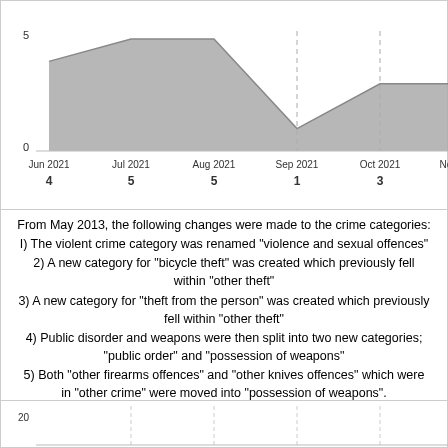[Figure (area-chart): Monthly crime counts (partial view)]
From May 2013, the following changes were made to the crime categories: I) The violent crime category was renamed "violence and sexual offences" 2) A new category for "bicycle theft" was created which previously fell within "other theft" 3) A new category for "theft from the person" was created which previously fell within "other theft" 4) Public disorder and weapons were then split into two new categories; "public order" and "possession of weapons" 5) Both "other firearms offences" and "other knives offences" which were in "other crime" were moved into "possession of weapons".
[Figure (area-chart): Monthly crime counts (partial view 2)]